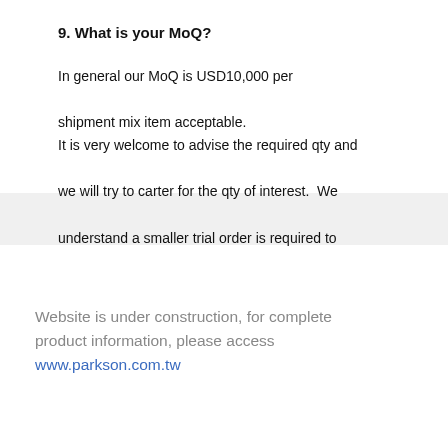9. What is your MoQ?
In general our MoQ is USD10,000 per shipment mix item acceptable.
It is very welcome to advise the required qty and we will try to carter for the qty of interest. We understand a smaller trial order is required to
Website is under construction, for complete product information, please access www.parkson.com.tw